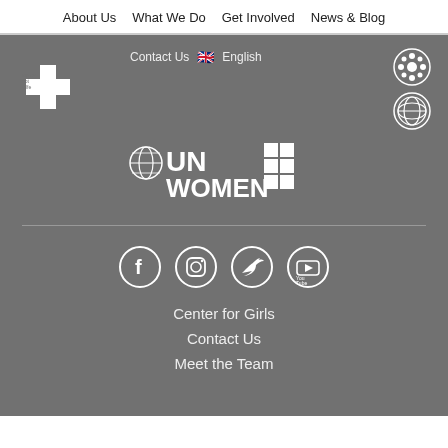About Us   What We Do   Get Involved   News & Blog
Contact Us   🇬🇧 English
[Figure (logo): Kindernothilfe logo (white cross with text)]
[Figure (logo): Two circular partner organization logos (white on grey)]
[Figure (logo): UN Women logo in white]
[Figure (logo): Facebook social media icon circle]
[Figure (logo): Instagram social media icon circle]
[Figure (logo): Twitter social media icon circle]
[Figure (logo): YouTube social media icon circle]
Center for Girls
Contact Us
Meet the Team